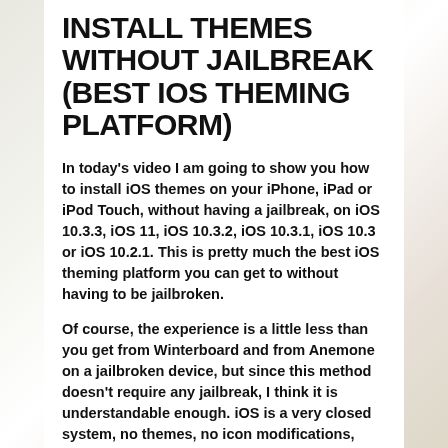INSTALL THEMES WITHOUT JAILBREAK (BEST iOS THEMING PLATFORM)
In today's video I am going to show you how to install iOS themes on your iPhone, iPad or iPod Touch, without having a jailbreak, on iOS 10.3.3, iOS 11, iOS 10.3.2, iOS 10.3.1, iOS 10.3 or iOS 10.2.1. This is pretty much the best iOS theming platform you can get to without having to be jailbroken.
Of course, the experience is a little less than you get from Winterboard and from Anemone on a jailbroken device, but since this method doesn't require any jailbreak, I think it is understandable enough. iOS is a very closed system, no themes, no icon modifications, barely any customizations available for the user, so the simple fact that those guys have achieved theming on iOS without requiring a truck full of exploits to do that is impressive.